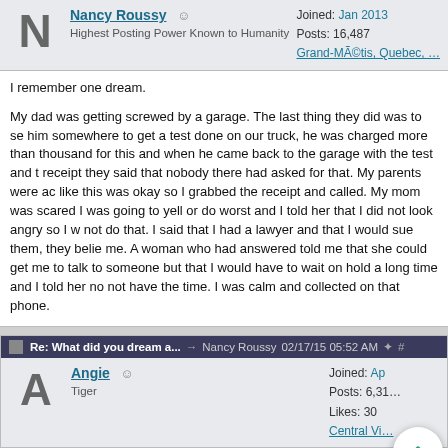Nancy Roussy | Highest Posting Power Known to Humanity | Joined: Jan 2013 | Posts: 16,487 | Grand-Métis, Quebec
I remember one dream.

My dad was getting screwed by a garage. The last thing they did was to se him somewhere to get a test done on our truck, he was charged more than thousand for this and when he came back to the garage with the test and t receipt they said that nobody there had asked for that. My parents were ac like this was okay so I grabbed the receipt and called. My mom was scared I was going to yell or do worst and I told her that I did not look angry so I w not do that. I said that I had a lawyer and that I would sue them, they belie me. A woman who had answered told me that she could get me to talk to someone but that I would have to wait on hold a long time and I told her no not have the time. I was calm and collected on that phone.
Re: What did you dream a... → Nancy Roussy 02/17/15 05:52 AM
Angie | Tiger | Joined: Ap | Posts: 6,31 | Likes: 30 | Central Vir
The mid east.